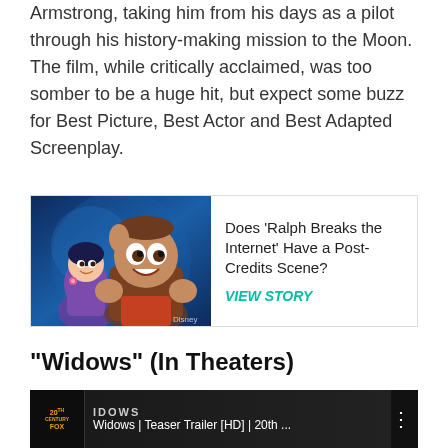Armstrong, taking him from his days as a pilot through his history-making mission to the Moon. The film, while critically acclaimed, was too somber to be a huge hit, but expect some buzz for Best Picture, Best Actor and Best Adapted Screenplay.
[Figure (screenshot): Promotional card with animated characters from 'Ralph Breaks the Internet' (Disney) on the left, and text on the right reading 'Does Ralph Breaks the Internet Have a Post-Credits Scene?' with a 'VIEW STORY' link in teal.]
"Widows" (In Theaters)
[Figure (screenshot): YouTube video thumbnail for 'Widows | Teaser Trailer [HD] | 20th ...' showing the 20th Century Fox logo and several actors' faces in a dark cinematic style.]